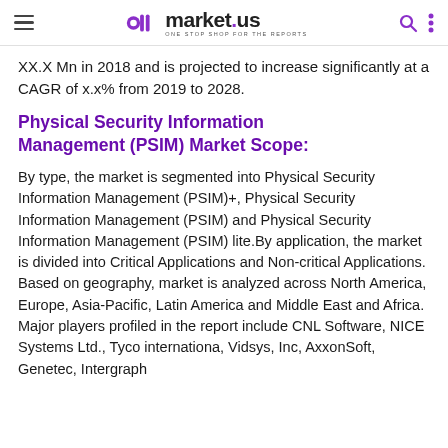market.us — ONE STOP SHOP FOR THE REPORTS
XX.X Mn in 2018 and is projected to increase significantly at a CAGR of x.x% from 2019 to 2028.
Physical Security Information Management (PSIM) Market Scope:
By type, the market is segmented into Physical Security Information Management (PSIM)+, Physical Security Information Management (PSIM) and Physical Security Information Management (PSIM) lite.By application, the market is divided into Critical Applications and Non-critical Applications. Based on geography, market is analyzed across North America, Europe, Asia-Pacific, Latin America and Middle East and Africa. Major players profiled in the report include CNL Software, NICE Systems Ltd., Tyco internationa, Vidsys, Inc, AxxonSoft, Genetec, Intergraph